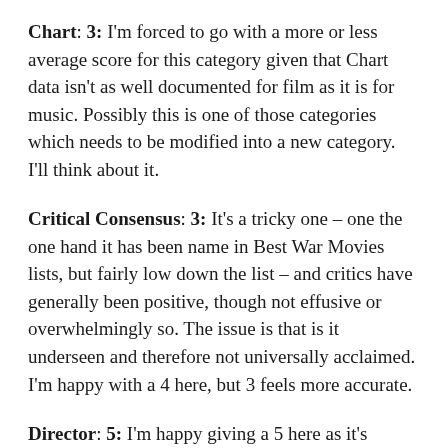Chart: 3: I'm forced to go with a more or less average score for this category given that Chart data isn't as well documented for film as it is for music. Possibly this is one of those categories which needs to be modified into a new category. I'll think about it.
Critical Consensus: 3: It's a tricky one – one the one hand it has been name in Best War Movies lists, but fairly low down the list – and critics have generally been positive, though not effusive or overwhelmingly so. The issue is that is it underseen and therefore not universally acclaimed. I'm happy with a 4 here, but 3 feels more accurate.
Director: 5: I'm happy giving a 5 here as it's probably Fuller's finest moment. It's a hard-nosed, hard-boiled war movie which pulls no punches and is based on Fuller's